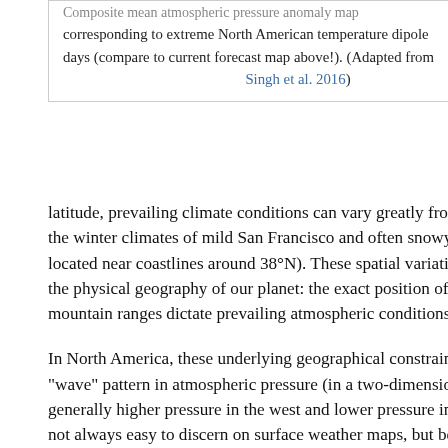Composite mean atmospheric pressure anomaly map corresponding to extreme North American temperature dipole days (compare to current forecast map above!). (Adapted from Singh et al. 2016)
across the Earth's surface. Even at a given latitude, prevailing climate conditions can vary greatly from place to place (compare, for example, the winter climates of mild San Francisco and often snowy Washington, D.C., which are both located near coastlines around 38°N). These spatial variations in climate are a direct consequence of the physical geography of our planet: the exact position of our continents, ocean basins, and major mountain ranges dictate prevailing atmospheric conditions on a global scale.
In North America, these underlying geographical constraints yield a semi-permanent wintertime “wave” pattern in atmospheric pressure (in a two-dimensional map sense), which is characterized by generally higher pressure in the west and lower pressure in the east. This pre-existing wave pattern is not always easy to discern on surface weather maps, but becomes more apparent when considering pressure patterns